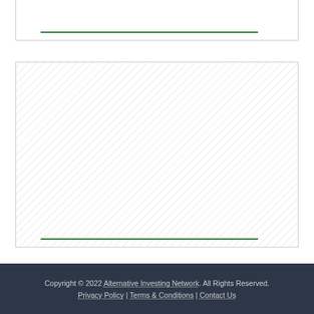[Figure (other): Top bordered box with a green horizontal line near the bottom edge]
[Figure (other): Main large bordered box with diagonal hatching pattern and a green horizontal line near the bottom edge]
Copyright © 2022 Alternative Investing Network. All Rights Reserved. Privacy Policy | Terms & Conditions | Contact Us